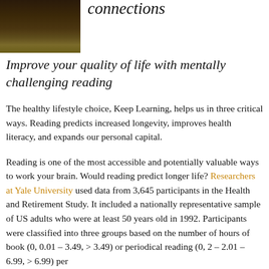[Figure (photo): Dark outdoor photo, appears to show a dimly lit landscape or field at dusk/night]
connections
Improve your quality of life with mentally challenging reading
The healthy lifestyle choice, Keep Learning, helps us in three critical ways. Reading predicts increased longevity, improves health literacy, and expands our personal capital.
Reading is one of the most accessible and potentially valuable ways to work your brain. Would reading predict longer life? Researchers at Yale University used data from 3,645 participants in the Health and Retirement Study. It included a nationally representative sample of US adults who were at least 50 years old in 1992. Participants were classified into three groups based on the number of hours of book (0, 0.01 – 3.49, > 3.49) or periodical reading (0, 2 – 2.01 – 6.99, > 6.99) per